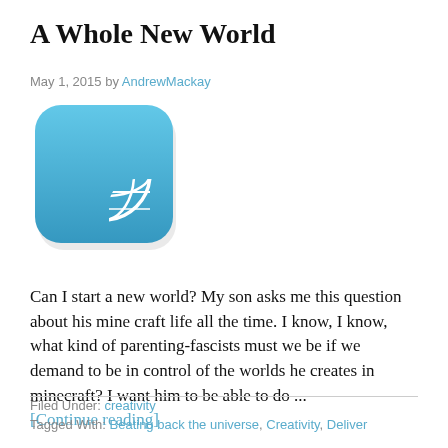A Whole New World
May 1, 2015 by AndrewMackay
[Figure (illustration): Blue rounded-square app icon with a white globe/grid symbol centered on it, resembling a Safari or browser icon.]
Can I start a new world? My son asks me this question about his mine craft life all the time. I know, I know, what kind of parenting-fascists must we be if we demand to be in control of the worlds he creates in minecraft? I want him to be able to do ... [Continue reading]
Filed Under: creativity
Tagged With: Beating back the universe, Creativity, Deliver